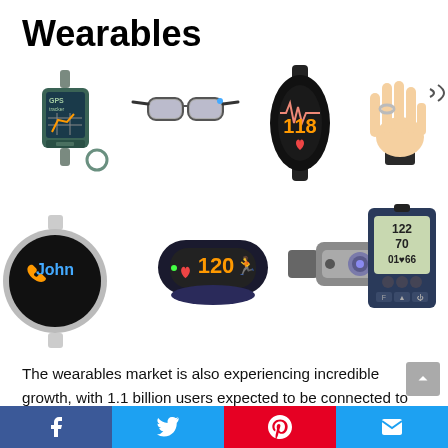Wearables
[Figure (illustration): Collection of wearable device illustrations: GPS tracker watch, smart glasses, heart rate smartwatch showing 118, NFC ring on hand, round smartwatch showing John contact, fitness band showing heart rate 120, body sensor strap, blood pressure monitor showing 122/70/01-66]
The wearables market is also experiencing incredible growth, with 1.1 billion users expected to be connected to wearables in 2022. According to experts, mobile app development trends will leverage this in new and exciting
Facebook | Twitter | Pinterest | Email